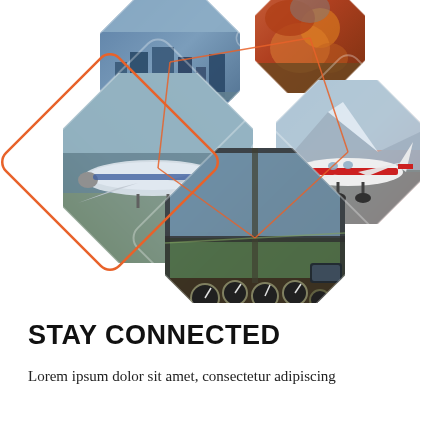[Figure (photo): Collage of aviation-themed photos arranged in rotated diamond/rhombus shapes: a small blue-and-white Cessna plane over a city skyline (bottom-left large diamond), a cityscape from the air (top-left), a fire/explosion aerial scene (top-center), a red-and-white plane parked near snowy mountains (top-right), and a cockpit view with pilot flying over green fields (center-bottom large diamond). Orange outlined decorative diamond overlays the left cluster.]
STAY CONNECTED
Lorem ipsum dolor sit amet, consectetur adipiscing